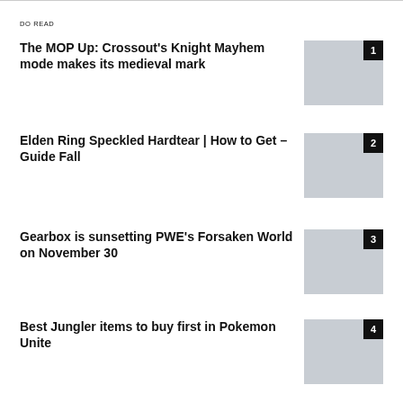DO READ
The MOP Up: Crossout's Knight Mayhem mode makes its medieval mark
Elden Ring Speckled Hardtear | How to Get – Guide Fall
Gearbox is sunsetting PWE's Forsaken World on November 30
Best Jungler items to buy first in Pokemon Unite